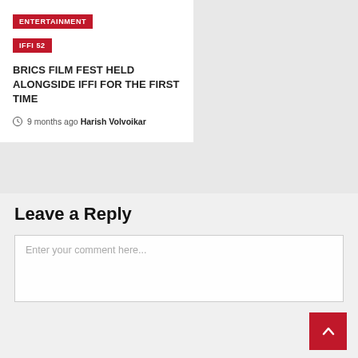ENTERTAINMENT
IFFI 52
BRICS FILM FEST HELD ALONGSIDE IFFI FOR THE FIRST TIME
9 months ago  Harish Volvoikar
Leave a Reply
Enter your comment here...